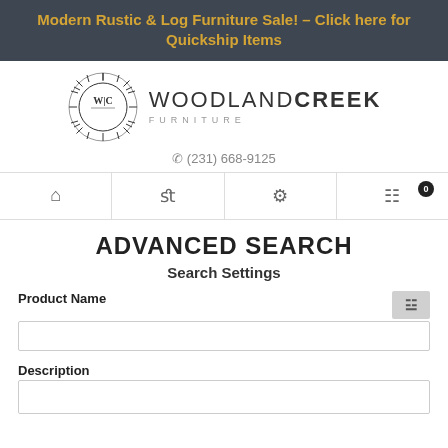Modern Rustic & Log Furniture Sale! – Click here for Quickship Items
[Figure (logo): Woodland Creek Furniture logo — circular sunburst design with WC monogram, company name WOODLAND CREEK FURNITURE]
☎ (231) 668-9125
[Figure (other): Navigation icon bar with home, search, user, and cart icons (cart shows badge 0)]
ADVANCED SEARCH
Search Settings
Product Name
Description